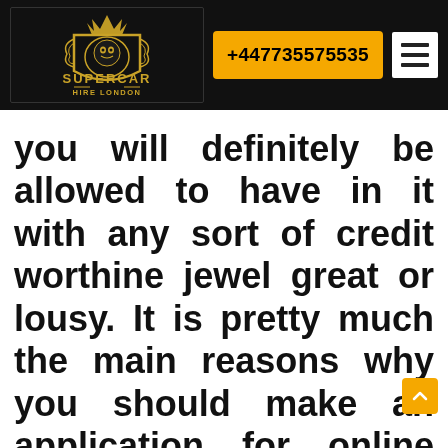[Figure (logo): Supercar Hire London logo — gold heraldic lion crest with crown on black background, text 'SUPERCAR HIRE LONDON' in gold]
+447735575535
you will definitely be allowed to have in it with any sort of credit worthine jewel great or lousy. It is pretty much the main reasons why you should make an application for online cash that is payday.
Cars dwellings and financing that is collateralized maybe maybe